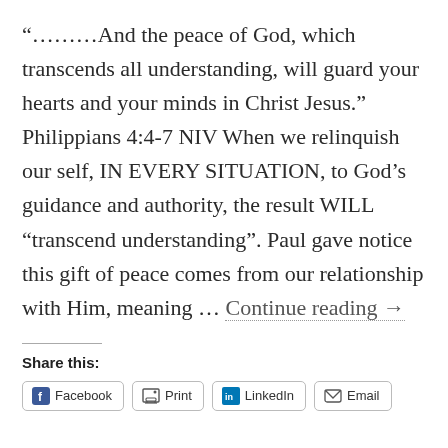“………And the peace of God, which transcends all understanding, will guard your hearts and your minds in Christ Jesus.” Philippians 4:4-7 NIV When we relinquish our self, IN EVERY SITUATION, to God’s guidance and authority, the result WILL “transcend understanding”. Paul gave notice this gift of peace comes from our relationship with Him, meaning … Continue reading →
Share this:
Facebook
Print
LinkedIn
Email